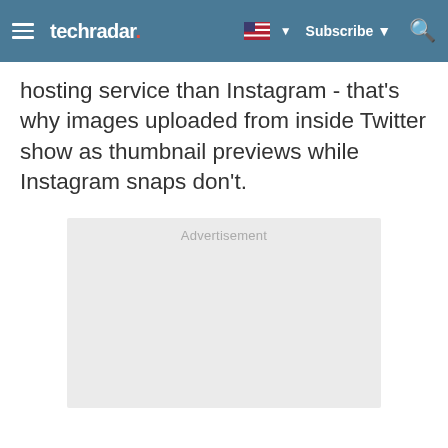techradar | Subscribe
hosting service than Instagram - that's why images uploaded from inside Twitter show as thumbnail previews while Instagram snaps don't.
[Figure (other): Advertisement placeholder box with light gray background and 'Advertisement' label at top center]